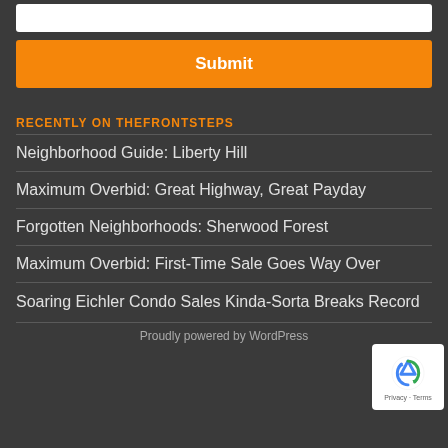[Figure (other): White input text box (form field)]
Submit
RECENTLY ON THEFRONTSTEPS
Neighborhood Guide: Liberty Hill
Maximum Overbid: Great Highway, Great Payday
Forgotten Neighborhoods: Sherwood Forest
Maximum Overbid: First-Time Sale Goes Way Over
Soaring Eichler Condo Sales Kinda-Sorta Breaks Record
Proudly powered by WordPress